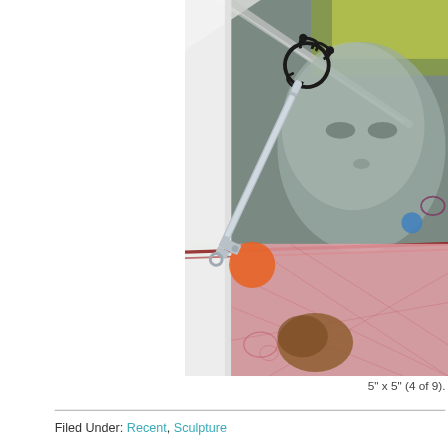[Figure (photo): Close-up photo of an art piece: a decorative metal skeleton key pendant on a cord, overlaid on a collage background featuring a child's face in grayscale, colorful fabric or paper with red/pink patterns, orange dots, and other art elements.]
5" x 5" (4 of 9).
Filed Under: Recent, Sculpture